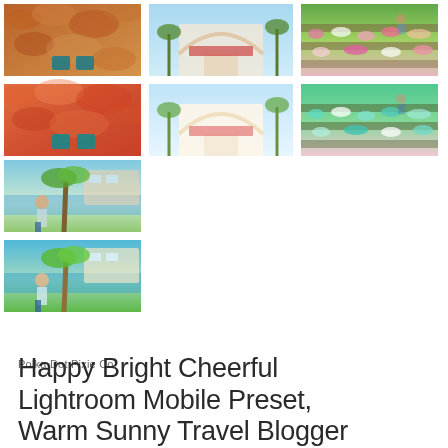[Figure (photo): 3x2 grid of travel/lifestyle photos before/after Lightroom preset. Top row: autumn leaves with shoes (before/after pair), arch building in pastel blue tones (before/after pair), colorful flower garden (before/after pair). Bottom left: beach resort with woman by palm tree (before/after pair).]
Polka Dot Pixie Co.
Happy Bright Cheerful Lightroom Mobile Preset, Warm Sunny Travel Blogger